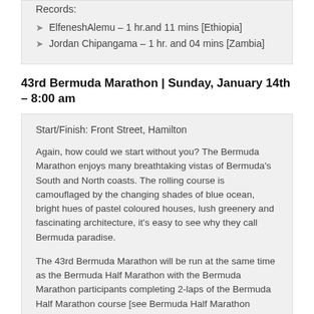Records:
ElfeneshAlemu – 1 hr.and 11 mins [Ethiopia]
Jordan Chipangama – 1 hr. and 04 mins [Zambia]
43rd Bermuda Marathon | Sunday, January 14th – 8:00 am
Start/Finish: Front Street, Hamilton
Again, how could we start without you? The Bermuda Marathon enjoys many breathtaking vistas of Bermuda's South and North coasts. The rolling course is camouflaged by the changing shades of blue ocean, bright hues of pastel coloured houses, lush greenery and fascinating architecture, it's easy to see why they call Bermuda paradise.
The 43rd Bermuda Marathon will be run at the same time as the Bermuda Half Marathon with the Bermuda Marathon participants completing 2-laps of the Bermuda Half Marathon course [see Bermuda Half Marathon above].
Bermuda Marathon Awards will be presented in the following categories for both Males & Females-